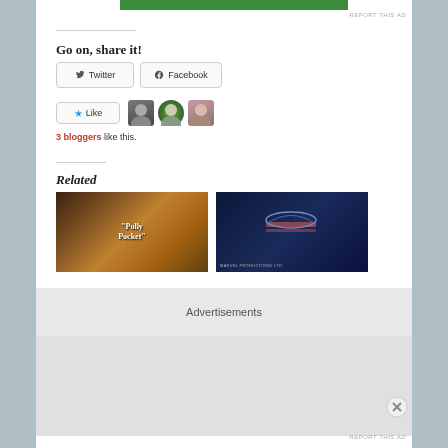[Figure (other): Green banner bar at top of page]
REPORT THIS AD
Go on, share it!
[Figure (other): Twitter share button with bird icon]
[Figure (other): Facebook share button with f icon]
[Figure (other): Like button with star icon and three blogger avatars]
3 bloggers like this.
Related
[Figure (photo): Polly Pocket toys promotional image with logo text 'Polly Pocket']
[Figure (photo): Marvel Productions Ltd. logo image on dark blue background]
Advertisements
REPORT THIS AD